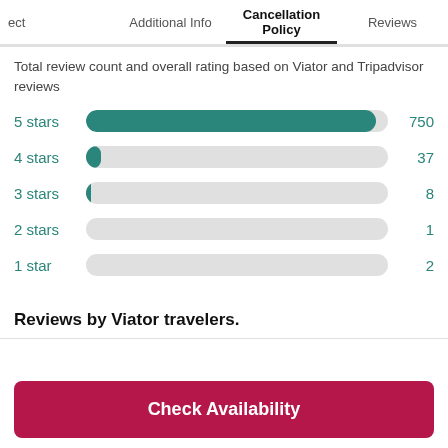ect   Additional Info   Cancellation Policy   Reviews
Total review count and overall rating based on Viator and Tripadvisor reviews
[Figure (bar-chart): Star ratings]
Reviews by Viator travelers.
Check Availability